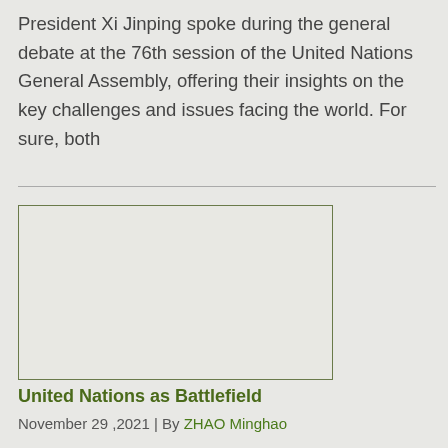President Xi Jinping spoke during the general debate at the 76th session of the United Nations General Assembly, offering their insights on the key challenges and issues facing the world. For sure, both
[Figure (photo): A rectangular image placeholder with light background and olive/dark green border, representing an article thumbnail image.]
United Nations as Battlefield
November 29 ,2021 | By ZHAO Minghao